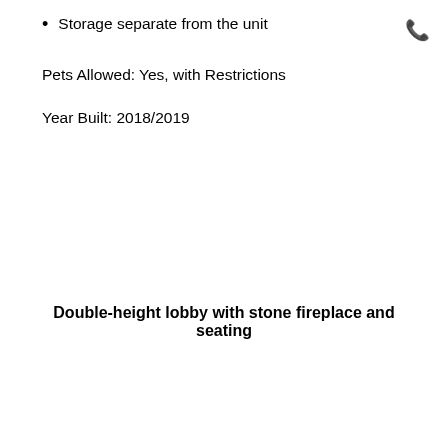Storage separate from the unit
Pets Allowed: Yes, with Restrictions
Year Built: 2018/2019
Double-height lobby with stone fireplace and seating